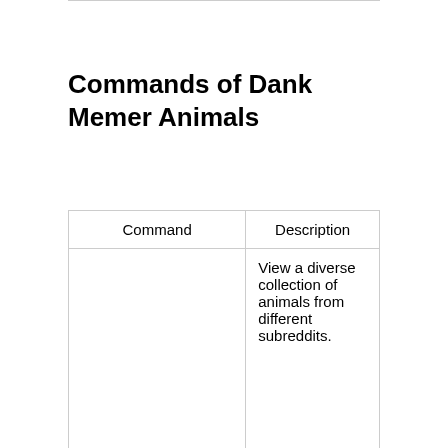Commands of Dank Memer Animals
| Command | Description |
| --- | --- |
| Animals, please | View a diverse collection of animals from different subreddits. |